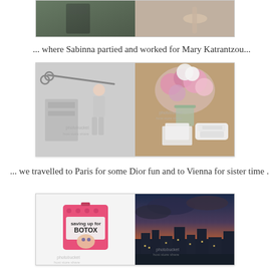[Figure (photo): Two partially visible photos at the top of the page: left shows a person in dark clothing outdoors, right shows an arm/hand]
... where Sabinna partied and worked for Mary Katrantzou...
[Figure (photo): Two Instagram-style photos: left shows scissors and a Barbie doll in a grey dress with fabric patterns, right shows pink flowers in a vase, white sneakers and papers on a brown surface. Photobucket watermark visible.]
... we travelled to Paris for some Dior fun and to Vienna for sister time ...
[Figure (photo): Two Instagram-style photos: left shows a pink piggy bank/tin labeled BOTOX with a woman's face on it against white background, right shows a cityscape at dusk/night with dramatic cloudy sky. Photobucket watermark visible.]
... and back to London for work ...
[Figure (photo): Two partially visible photos at the bottom: left shows a dark-haired person, right shows what appears to be a white surface or fabric]